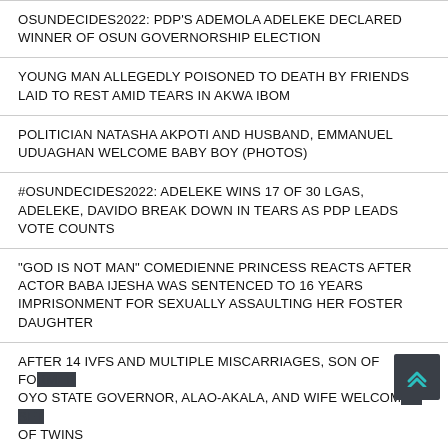OSUNDECIDES2022: PDP'S ADEMOLA ADELEKE DECLARED WINNER OF OSUN GOVERNORSHIP ELECTION
YOUNG MAN ALLEGEDLY POISONED TO DEATH BY FRIENDS LAID TO REST AMID TEARS IN AKWA IBOM
POLITICIAN NATASHA AKPOTI AND HUSBAND, EMMANUEL UDUAGHAN WELCOME BABY BOY (PHOTOS)
#OSUNDECIDES2022: ADELEKE WINS 17 OF 30 LGAS, ADELEKE, DAVIDO BREAK DOWN IN TEARS AS PDP LEADS VOTE COUNTS
"GOD IS NOT MAN" COMEDIENNE PRINCESS REACTS AFTER ACTOR BABA IJESHA WAS SENTENCED TO 16 YEARS IMPRISONMENT FOR SEXUALLY ASSAULTING HER FOSTER DAUGHTER
AFTER 14 IVFS AND MULTIPLE MISCARRIAGES, SON OF FORMER OYO STATE GOVERNOR, ALAO-AKALA, AND WIFE WELCOME A SET OF TWINS